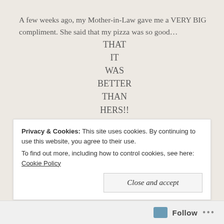A few weeks ago, my Mother-in-Law gave me a VERY BIG compliment. She said that my pizza was so good… THAT IT WAS BETTER THAN HERS!! …. and that was from eating the leftovers! I wonder what should would think if she tasted it right out of the oven. I am very honored that she think my pizza is the same caliber as hers… I mean…. SHE'S FROM NAPLES!! Birth
Privacy & Cookies: This site uses cookies. By continuing to use this website, you agree to their use.
To find out more, including how to control cookies, see here: Cookie Policy
Close and accept
Follow